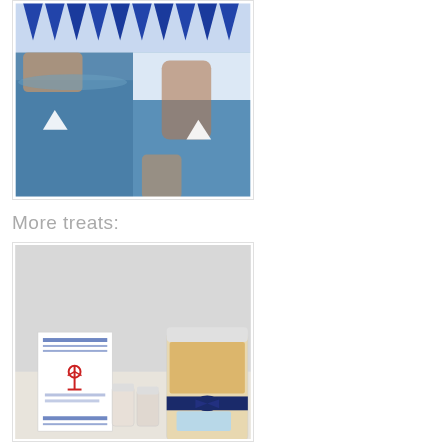[Figure (photo): Collage of children playing with paper boats in an inflatable pool with blue water, and blue triangle bunting flags at top]
More treats:
[Figure (photo): Nautical themed party treats: jars and containers with navy blue ribbon bows, a sign with red anchor and text, arranged on a table]